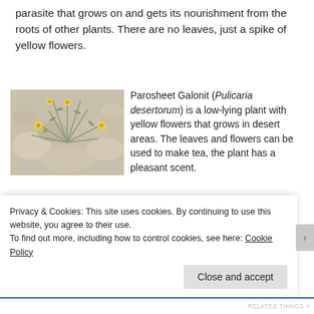parasite that grows on and gets its nourishment from the roots of other plants. There are no leaves, just a spike of yellow flowers.
[Figure (photo): Photo of Pulicaria desertorum, a low-lying desert plant with thin green-grey stems and small yellow daisy-like flowers growing among pale rocks]
Parosheet Galonit (Pulicaria desertorum) is a low-lying plant with yellow flowers that grows in desert areas. The leaves and flowers can be used to make tea, the plant has a pleasant scent.
[Figure (photo): Partial photo of Lotus HaMidbar (Desert Lotus) plant, cropped at bottom]
Lotus HaMidbar, Desert Lotus
Privacy & Cookies: This site uses cookies. By continuing to use this website, you agree to their use.
To find out more, including how to control cookies, see here: Cookie Policy
Close and accept